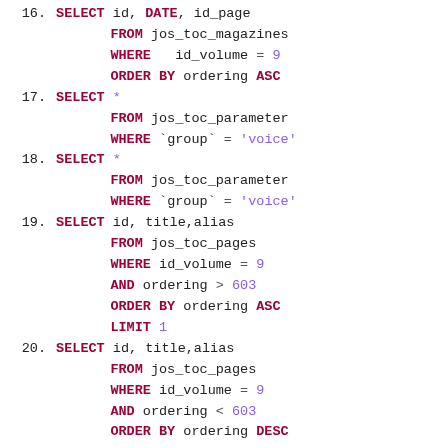16. SELECT id, DATE, id_page FROM jos_toc_magazines WHERE id_volume = 9 ORDER BY ordering ASC
17. SELECT * FROM jos_toc_parameter WHERE `group` = 'voice'
18. SELECT * FROM jos_toc_parameter WHERE `group` = 'voice'
19. SELECT id, title,alias FROM jos_toc_pages WHERE id_volume = 9 AND ordering > 603 ORDER BY ordering ASC LIMIT 1
20. SELECT id, title,alias FROM jos_toc_pages WHERE id_volume = 9 AND ordering < 603 ORDER BY ordering DESC